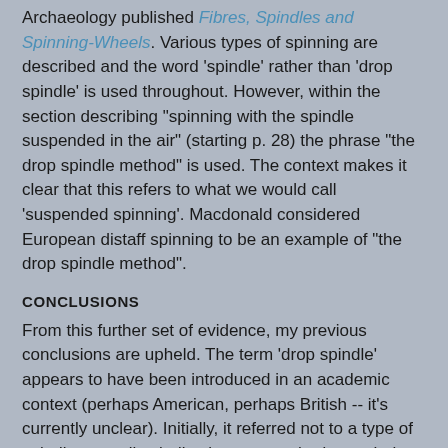Archaeology published Fibres, Spindles and Spinning-Wheels. Various types of spinning are described and the word 'spindle' rather than 'drop spindle' is used throughout. However, within the section describing "spinning with the spindle suspended in the air" (starting p. 28) the phrase "the drop spindle method" is used. The context makes it clear that this refers to what we would call 'suspended spinning'. Macdonald considered European distaff spinning to be an example of "the drop spindle method".
CONCLUSIONS
From this further set of evidence, my previous conclusions are upheld. The term 'drop spindle' appears to have been introduced in an academic context (perhaps American, perhaps British -- it's currently unclear). Initially, it referred not to a type of spindle or to all spindles but to a method or technique that involved "dropping" the spindle -- i.e. what we today call 'suspended spinning'. By the late 1950s, the term had migrated somewhat so that spindles that were used for suspended spinning were referred to as 'drop spindles' (see Part 1). Thereafter, quite possibly during the 1970s craft